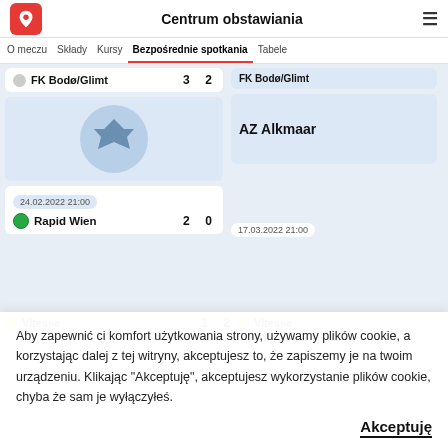Centrum obstawiania
O meczu  Składy  Kursy  Bezpośrednie spotkania  Tabele
FK Bodø/Glimt  3  2
FK Bodø/Glimt
AZ Alkmaar
24.02.2022 21:00
Rapid Wien  2  0
17.03.2022 21:00
Vitesse  1  2
Vitesse
AS Roma
Aby zapewnić ci komfort użytkowania strony, używamy plików cookie, a korzystając dalej z tej witryny, akceptujesz to, że zapiszemy je na twoim urządzeniu. Klikając "Akceptuję", akceptujesz wykorzystanie plików cookie, chyba że sam je wyłączyłeś.
Akceptuję